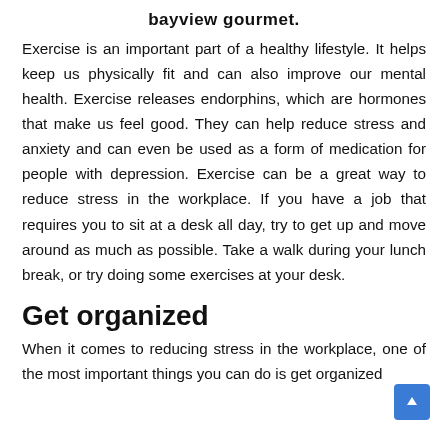bayview gourmet.
Exercise is an important part of a healthy lifestyle. It helps keep us physically fit and can also improve our mental health. Exercise releases endorphins, which are hormones that make us feel good. They can help reduce stress and anxiety and can even be used as a form of medication for people with depression. Exercise can be a great way to reduce stress in the workplace. If you have a job that requires you to sit at a desk all day, try to get up and move around as much as possible. Take a walk during your lunch break, or try doing some exercises at your desk.
Get organized
When it comes to reducing stress in the workplace, one of the most important things you can do is get organized